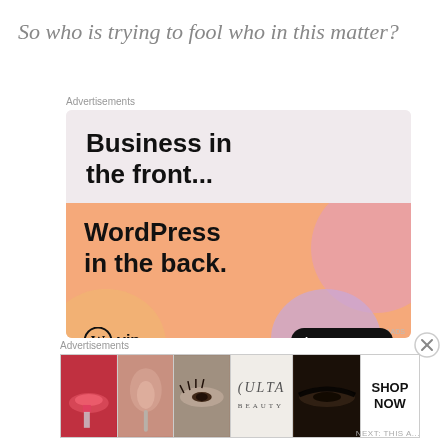So who is trying to fool who in this matter?
[Figure (screenshot): WordPress VIP advertisement: 'Business in the front... WordPress in the back.' with Learn more button on peach/salmon gradient background with colorful blob shapes]
[Figure (screenshot): Ulta Beauty advertisement showing makeup imagery (lips, brush, eyes) with ULTA logo and SHOP NOW call to action]